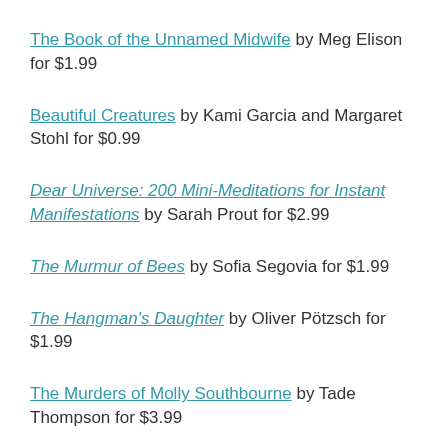The Book of the Unnamed Midwife by Meg Elison for $1.99
Beautiful Creatures by Kami Garcia and Margaret Stohl for $0.99
Dear Universe: 200 Mini-Meditations for Instant Manifestations by Sarah Prout for $2.99
The Murmur of Bees by Sofia Segovia for $1.99
The Hangman's Daughter by Oliver Pötzsch for $1.99
The Murders of Molly Southbourne by Tade Thompson for $3.99